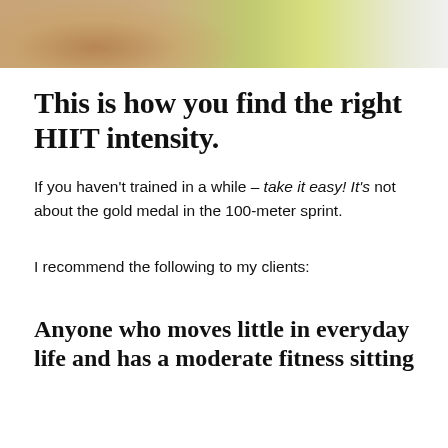[Figure (photo): Close-up photo of a person's wrist/hand holding a yellow-green dumbbell or exercise equipment, showing skin detail]
This is how you find the right HIIT intensity.
If you haven't trained in a while – take it easy! It's not about the gold medal in the 100-meter sprint.
I recommend the following to my clients:
Anyone who moves little in everyday life and has a moderate fitness sitting